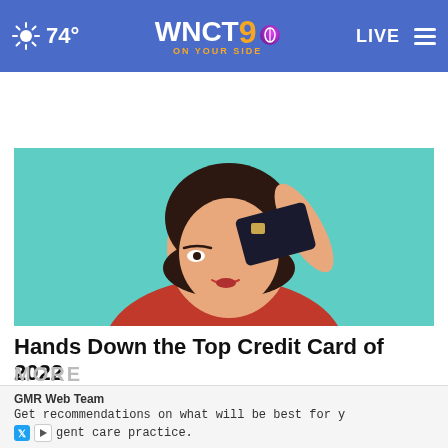WNCT 9 ON YOUR SIDE — 74° — LIVE
Top Stories ›
[Figure (photo): Woman holding a credit card up to cover one eye, wearing red top, teal/mint background]
Hands Down the Top Credit Card of 2022
Ad by CompareCredit
GMR Web Team
Get recommendations on what will be best for y…gent care practice.